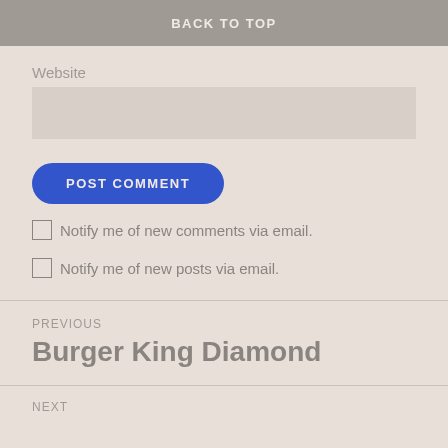BACK TO TOP
Website
POST COMMENT
Notify me of new comments via email.
Notify me of new posts via email.
PREVIOUS
Burger King Diamond
NEXT